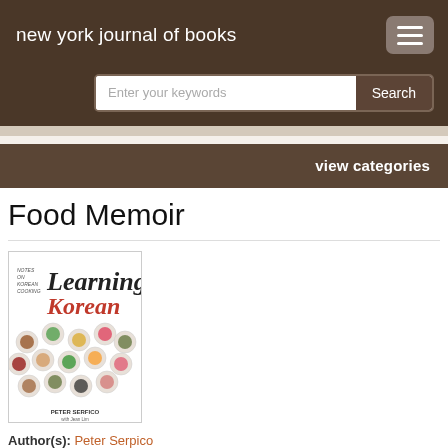new york journal of books
[Figure (screenshot): Search bar with placeholder text 'Enter your keywords' and a Search button]
view categories
Food Memoir
[Figure (photo): Book cover of 'Learning Korean' by Peter Serpico, showing bowls of Korean food]
Author(s): Peter Serpico